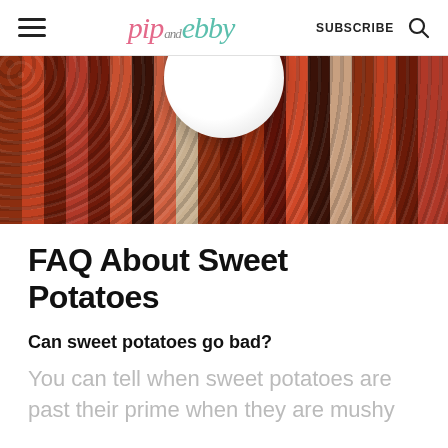pip and ebby — SUBSCRIBE
[Figure (photo): Close-up photo of a colorful woven placemat with orange, red, dark brown, and cream tones, with a white bowl visible at the top center.]
FAQ About Sweet Potatoes
Can sweet potatoes go bad?
You can tell when sweet potatoes are past their prime when they are mushy